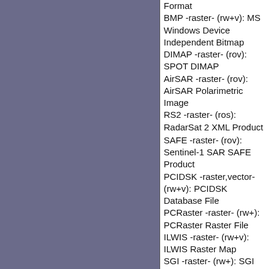Format
BMP -raster- (rw+v): MS Windows Device Independent Bitmap
DIMAP -raster- (rov): SPOT DIMAP
AirSAR -raster- (rov): AirSAR Polarimetric Image
RS2 -raster- (ros): RadarSat 2 XML Product
SAFE -raster- (rov): Sentinel-1 SAR SAFE Product
PCIDSK -raster,vector- (rw+v): PCIDSK Database File
PCRaster -raster- (rw+): PCRaster Raster File
ILWIS -raster- (rw+v): ILWIS Raster Map
SGI -raster- (rw+): SGI Image File Format 1.0
SRTMHGT -raster- (rwv): SRTMHGT File Format
Leveller -raster- (rw+): Leveller heightfield
Terragen -raster- (rw+): Terragen heightfield
ISIS3 -raster- (rov): USGS Astrogeology ISIS cube (Version 3)
ISIS2 -raster- (rw+v): USGS